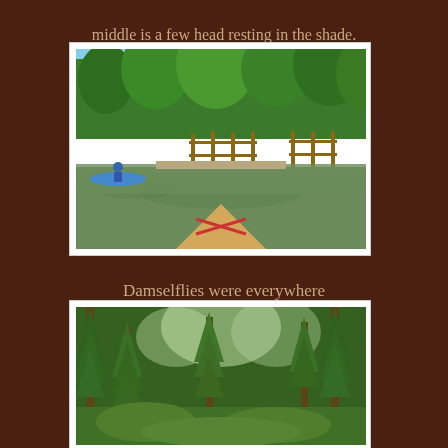middle is a few head resting in the shade.
[Figure (photo): View from a kayak on a calm water body surrounded by green trees and wooden fences; another kayaker visible in the left; bow of kayak visible in foreground.]
Damselflies were everywhere
[Figure (photo): Dense green forest with tall evergreen trees and lush undergrowth, sunlit.]